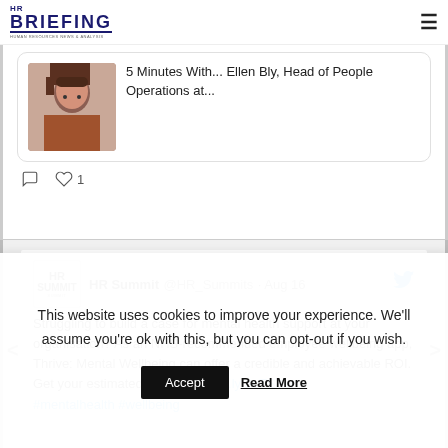HR BRIEFING - Human Resources News & Analysis
[Figure (screenshot): Partial tweet/article card showing a photo of a woman with glasses and text '5 Minutes With... Ellen Bly, Head of People Operations at...']
5 Minutes With... Ellen Bly, Head of People Operations at...
[Figure (screenshot): Tweet by HR Summit @HR_Summits · Aug 16: Struggling to build a case for mental health support at your organisation? As an NHS-recommended employee wellbeing app, Thrive: Mental Wellbeing can offer a credible and achievable ROI. Get your estimated ROI report: bit.ly/3oTS8lu #mentalhealth #wellbeing]
Struggling to build a case for mental health support at your organisation? As an NHS-recommended employee wellbeing app, Thrive: Mental Wellbeing can offer a credible and achievable ROI. Get your estimated ROI report: bit.ly/3oTS8lu
This website uses cookies to improve your experience. We'll assume you're ok with this, but you can opt-out if you wish.